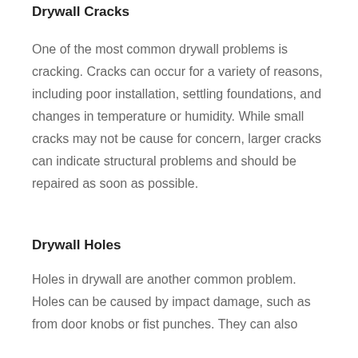Drywall Cracks
One of the most common drywall problems is cracking. Cracks can occur for a variety of reasons, including poor installation, settling foundations, and changes in temperature or humidity. While small cracks may not be cause for concern, larger cracks can indicate structural problems and should be repaired as soon as possible.
Drywall Holes
Holes in drywall are another common problem. Holes can be caused by impact damage, such as from door knobs or fist punches. They can also